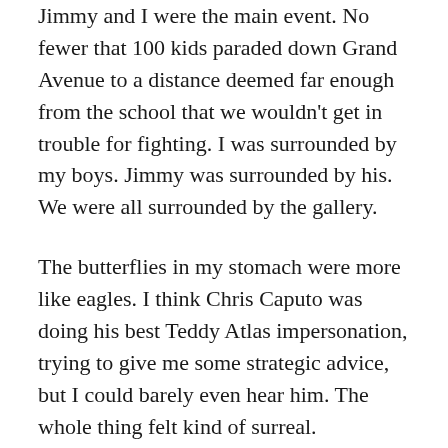Jimmy and I were the main event. No fewer that 100 kids paraded down Grand Avenue to a distance deemed far enough from the school that we wouldn't get in trouble for fighting. I was surrounded by my boys. Jimmy was surrounded by his. We were all surrounded by the gallery.
The butterflies in my stomach were more like eagles. I think Chris Caputo was doing his best Teddy Atlas impersonation, trying to give me some strategic advice, but I could barely even hear him. The whole thing felt kind of surreal.
In the two or three periods between the hallway incident and the end of school, word of our coming fight spread like wildfire. By the time the final school bell rang,